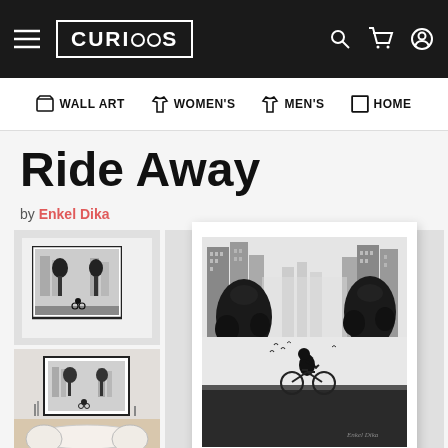CURIOOS — WALL ART, WOMEN'S, MEN'S, HOME
Ride Away
by Enkel Dika
[Figure (photo): Thumbnail 1: Black and white framed print of cyclist between trees with city buildings, plain white background]
[Figure (photo): Thumbnail 2: Same framed print displayed on wall above a dining room table with chairs]
[Figure (photo): Thumbnail 3: Same artwork shown in another setting, partially visible]
[Figure (photo): Main large image: Black and white fine art photograph of a person riding a bicycle between two large trees, tall city skyscrapers in the background, birds flying, dramatic misty urban scene — 'Ride Away' by Enkel Dika]